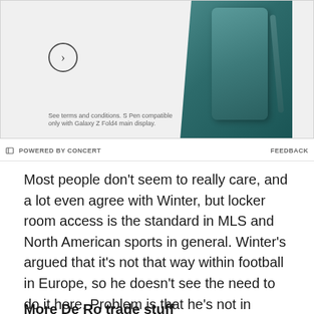[Figure (other): Advertisement banner for Samsung Galaxy Z Fold4 with teal phone and stylus, arrow button, and disclaimer text at bottom left]
POWERED BY CONCERT   FEEDBACK
Most people don't seem to really care, and a lot even agree with Winter, but locker room access is the standard in MLS and North American sports in general. Winter's argued that it's not that way within football in Europe, so he doesn't see the need to do it here. Problem is that he's not in Europe, and as John Carver discovered, there's going to be all sorts of wierd and unusual MLS rules he's going to keep bumping against, is this one really worth causing problems about?
More De Ro trade stuff